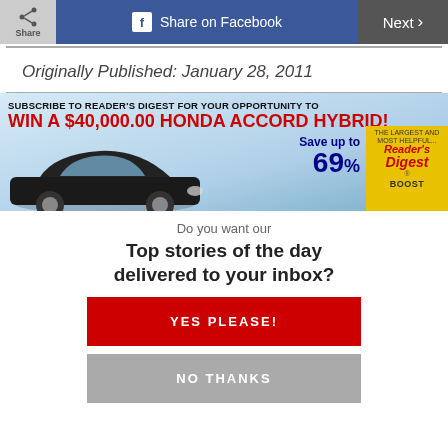Share | Share on Facebook | Next
Originally Published: January 28, 2011
[Figure (infographic): Reader's Digest advertisement banner: 'SUBSCRIBE TO READER'S DIGEST FOR YOUR OPPORTUNITY TO WIN A $40,000.00 HONDA ACCORD HYBRID! Save up to 69%' with image of a black Honda Accord and Reader's Digest magazine cover with BOOST label.]
Do you want our
Top stories of the day delivered to your inbox?
YES PLEASE!
NO THANKS